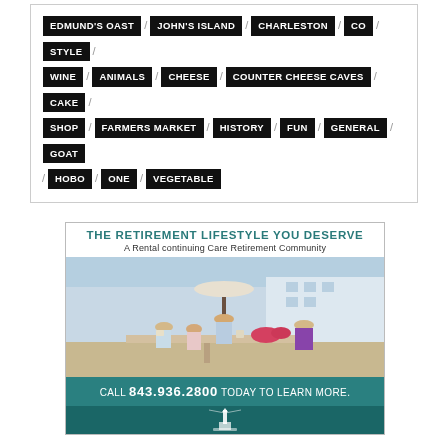[Figure (other): Tag cloud with black badge labels: EDMUND'S OAST, JOHN'S ISLAND, CHARLESTON, CO, STYLE, WINE, ANIMALS, CHEESE, COUNTER CHEESE CAVES, CAKE, SHOP, FARMERS MARKET, HISTORY, FUN, GENERAL, GOAT, HOBO, ONE, VEGETABLE — separated by slash characters]
[Figure (photo): Advertisement for a retirement community. Header: 'THE RETIREMENT LIFESTYLE YOU DESERVE / A Rental continuing Care Retirement Community'. Photo of elderly couple and grandchildren dining outdoors at a retirement community. Footer: 'CALL 843.936.2800 TODAY TO LEARN MORE.' Bottom bar shows partial teal/dark teal section with lighthouse logo.]